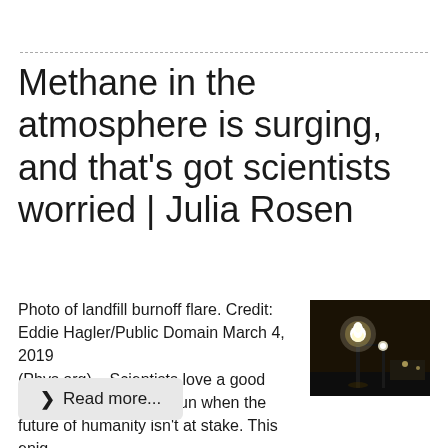Methane in the atmosphere is surging, and that's got scientists worried | Julia Rosen
Photo of landfill burnoff flare. Credit: Eddie Hagler/Public Domain March 4, 2019 (Phys.org) – Scientists love a good mystery. But it's more fun when the future of humanity isn't at stake. This enig ...
[Figure (photo): Photo of a landfill burnoff flare at night, showing a bright glowing flame at the top of a flare stack against a dark sky.]
Read more...